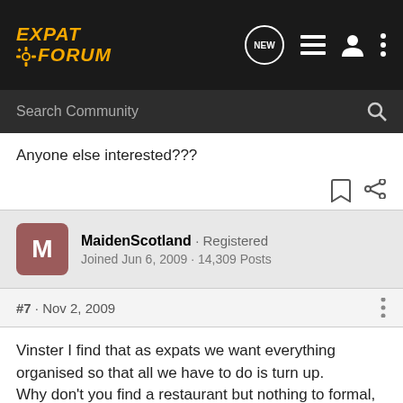EXPAT FORUM
Anyone else interested???
MaidenScotland · Registered
Joined Jun 6, 2009 · 14,309 Posts
#7 · Nov 2, 2009
Vinster I find that as expats we want everything organised so that all we have to do is turn up.
Why don't you find a restaurant but nothing to formal, or a club, pick a night and a time and ask right who wants to turn up?